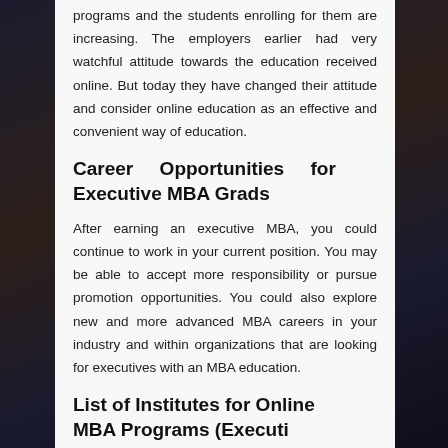programs and the students enrolling for them are increasing. The employers earlier had very watchful attitude towards the education received online. But today they have changed their attitude and consider online education as an effective and convenient way of education.
Career Opportunities for Executive MBA Grads
After earning an executive MBA, you could continue to work in your current position. You may be able to accept more responsibility or pursue promotion opportunities. You could also explore new and more advanced MBA careers in your industry and within organizations that are looking for executives with an MBA education.
List of Institutes for Online MBA Programs (Executi...